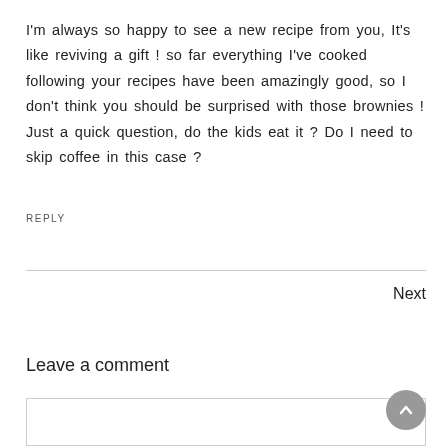I'm always so happy to see a new recipe from you, It's like reviving a gift ! so far everything I've cooked following your recipes have been amazingly good, so I don't think you should be surprised with those brownies ! Just a quick question, do the kids eat it ? Do I need to skip coffee in this case ?
REPLY
Next
Leave a comment